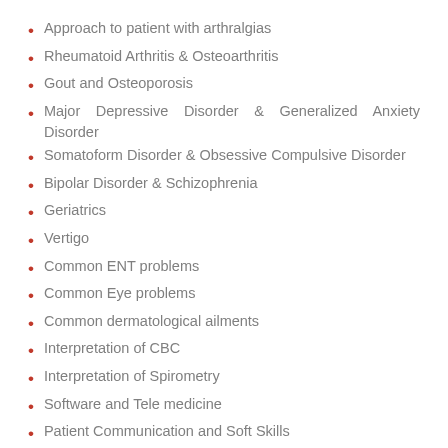Approach to patient with arthralgias
Rheumatoid Arthritis & Osteoarthritis
Gout and Osteoporosis
Major Depressive Disorder & Generalized Anxiety Disorder
Somatoform Disorder & Obsessive Compulsive Disorder
Bipolar Disorder & Schizophrenia
Geriatrics
Vertigo
Common ENT problems
Common Eye problems
Common dermatological ailments
Interpretation of CBC
Interpretation of Spirometry
Software and Tele medicine
Patient Communication and Soft Skills
Ethics and Data Privacy
Leadership and Personal Development
Eligibility Criteria